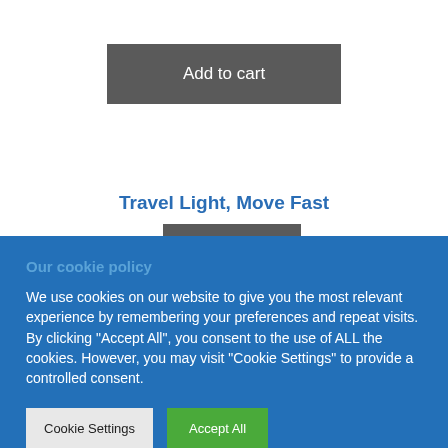Add to cart
Travel Light, Move Fast
£14.99
Our cookie policy
We use cookies on our website to give you the most relevant experience by remembering your preferences and repeat visits. By clicking "Accept All", you consent to the use of ALL the cookies. However, you may visit "Cookie Settings" to provide a controlled consent.
Cookie Settings
Accept All